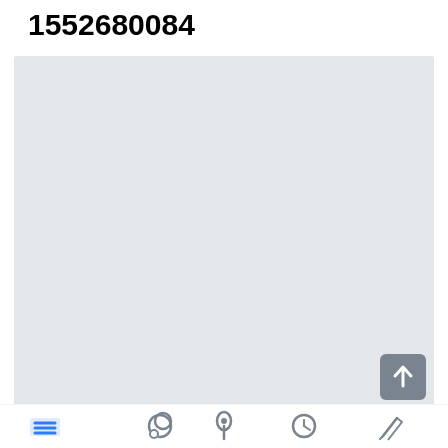1552680084
[Figure (screenshot): A large light grey rectangular image placeholder area with a dark grey scroll-to-top button in the bottom right corner containing an upward arrow icon.]
[Figure (infographic): Bottom navigation bar with five icons: a list/menu icon (blue), a speech bubble/comment icon (grey), a pin/bookmark icon (grey), a clock/history icon (grey), and a pen/edit icon (grey).]